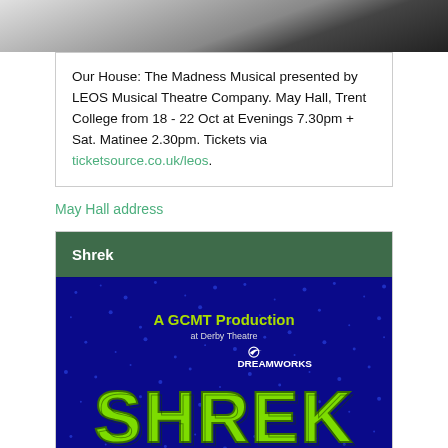[Figure (photo): Top portion of a photo, showing faces/costumes from a musical theatre production]
Our House: The Madness Musical presented by LEOS Musical Theatre Company. May Hall, Trent College from 18 - 22 Oct at Evenings 7.30pm + Sat. Matinee 2.30pm. Tickets via ticketsource.co.uk/leos.
May Hall address
Shrek
[Figure (photo): Shrek the Musical promotional image: A GCMT Production at Derby Theatre, DreamWorks logo, large green Shrek logo on blue sparkle background]